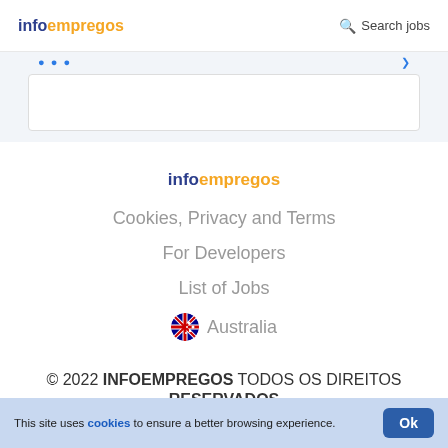infoempregos   Search jobs
infoempregos
Cookies, Privacy and Terms
For Developers
List of Jobs
Australia
© 2022 INFOEMPREGOS TODOS OS DIREITOS RESERVADOS
This site uses cookies to ensure a better browsing experience.  Ok